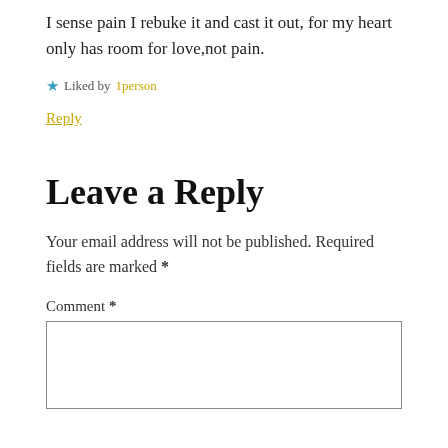I sense pain I rebuke it and cast it out, for my heart only has room for love,not pain.
★ Liked by 1person
Reply
Leave a Reply
Your email address will not be published. Required fields are marked *
Comment *